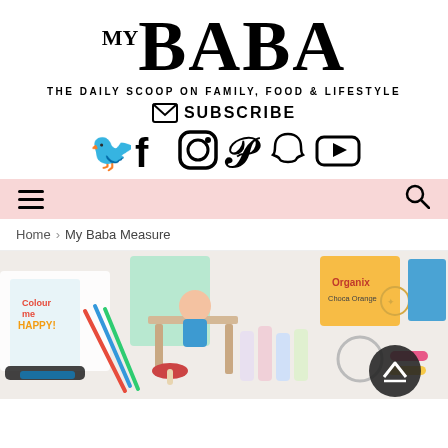[Figure (logo): My Baba magazine logo — large serif BABA with small superscript MY]
THE DAILY SCOOP ON FAMILY, FOOD & LIFESTYLE
[Figure (infographic): Subscribe button with envelope icon, and social media icons: Twitter, Facebook, Instagram, Pinterest, Snapchat, YouTube]
[Figure (screenshot): Navigation bar with hamburger menu on left and search icon on right, pink background]
Home > My Baba Measure
[Figure (photo): Collage of children's products including books, clothing, snacks, jewellery, beauty products on a white background]